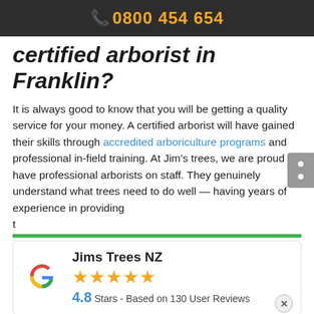📞 0800 454 654
certified arborist in Franklin?
It is always good to know that you will be getting a quality service for your money. A certified arborist will have gained their skills through accredited arboriculture programs and professional in-field training. At Jim's trees, we are proud to have professional arborists on staff. They genuinely understand what trees need to do well — having years of experience in providing t
[Figure (logo): Google logo (multicolor G) with Jims Trees NZ name, 5 gold stars, and rating 4.8 Stars - Based on 130 User Reviews]
team can quickly and safely prune, trim, or